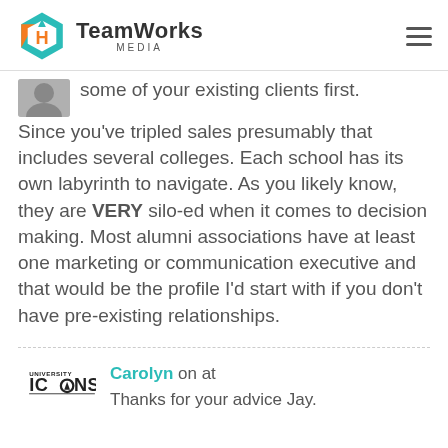TeamWorks MEDIA
some of your existing clients first. Since you've tripled sales presumably that includes several colleges. Each school has its own labyrinth to navigate. As you likely know, they are VERY silo-ed when it comes to decision making. Most alumni associations have at least one marketing or communication executive and that would be the profile I'd start with if you don't have pre-existing relationships.
Carolyn on at
Thanks for your advice Jay.